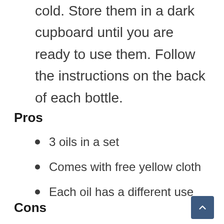cold. Store them in a dark cupboard until you are ready to use them. Follow the instructions on the back of each bottle.
Pros
3 oils in a set
Comes with free yellow cloth
Each oil has a different use
Cons